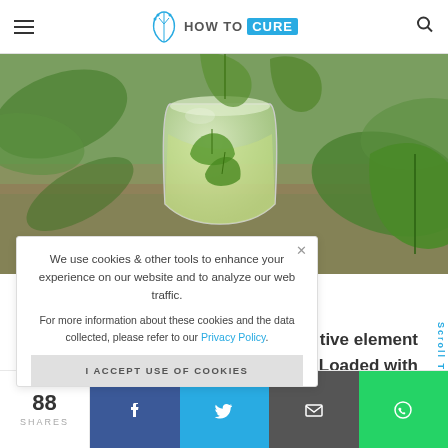HOW TO CURE
[Figure (photo): A glass cup of green tea with fresh green leaves on a wooden surface]
We use cookies & other tools to enhance your experience on our website and to analyze our web traffic.
For more information about these cookies and the data collected, please refer to our Privacy Policy.
I ACCEPT USE OF COOKIES
tive element
Loaded with
Scroll To
88 SHARES